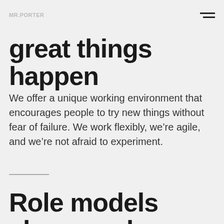great things happen
great things happen
We offer a unique working environment that encourages people to try new things without fear of failure. We work flexibly, we’re agile, and we’re not afraid to experiment.
Role models above and